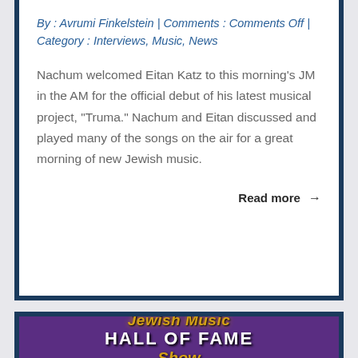By : Avrumi Finkelstein | Comments : Comments Off | Category : Interviews, Music, News
Nachum welcomed Eitan Katz to this morning's JM in the AM for the official debut of his latest musical project, "Truma." Nachum and Eitan discussed and played many of the songs on the air for a great morning of new Jewish music.
Read more →
[Figure (illustration): Jewish Music Hall of Fame Show logo on purple background with gold and white stylized lettering]